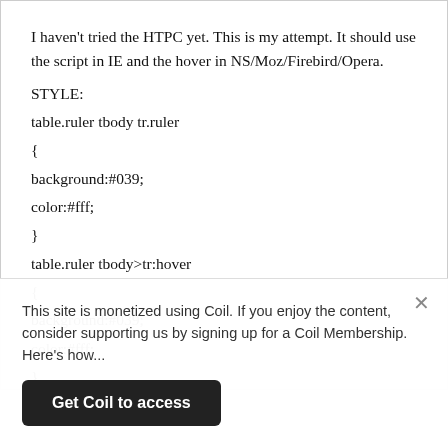I haven't tried the HTPC yet. This is my attempt. It should use the script in IE and the hover in NS/Moz/Firebird/Opera.
STYLE:
table.ruler tbody tr.ruler
{
background:#039;
color:#fff;
}
table.ruler tbody>tr:hover
{
background:#039;
color:#fff;
}
This site is monetized using Coil. If you enjoy the content, consider supporting us by signing up for a Coil Membership. Here's how...
Get Coil to access